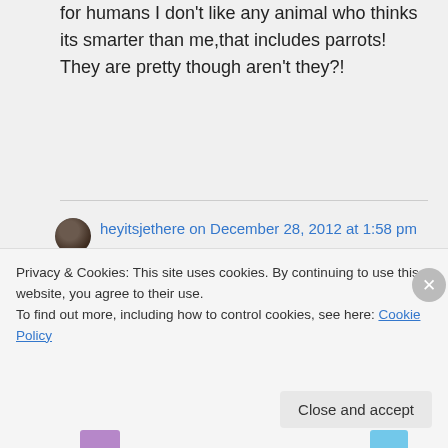for humans I don't like any animal who thinks its smarter than me,that includes parrots! They are pretty though aren't they?!
heyitsjethere on December 28, 2012 at 1:58 pm
Hey Kirby, Jet here.
Indeed   here's the thingie   we
Privacy & Cookies: This site uses cookies. By continuing to use this website, you agree to their use.
To find out more, including how to control cookies, see here: Cookie Policy